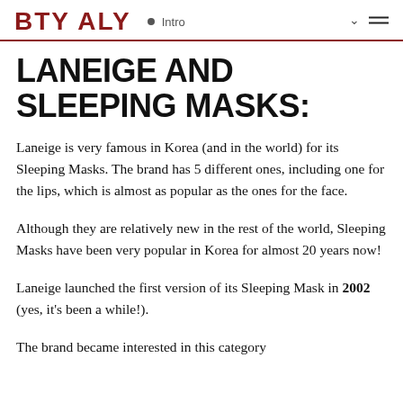BTY ALY • Intro
LANEIGE AND SLEEPING MASKS:
Laneige is very famous in Korea (and in the world) for its Sleeping Masks. The brand has 5 different ones, including one for the lips, which is almost as popular as the ones for the face.
Although they are relatively new in the rest of the world, Sleeping Masks have been very popular in Korea for almost 20 years now!
Laneige launched the first version of its Sleeping Mask in 2002 (yes, it's been a while!).
The brand became interested in this category